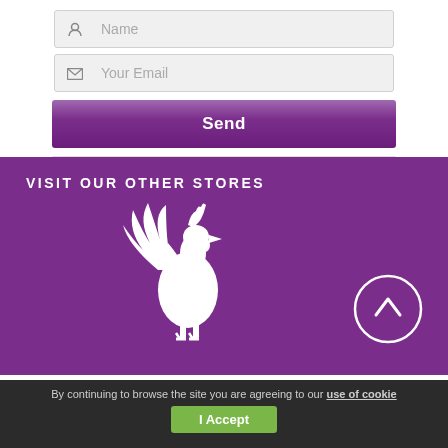[Figure (screenshot): Name input field with person icon placeholder]
[Figure (screenshot): Your Email input field with envelope icon placeholder]
[Figure (screenshot): Purple Send button]
VISIT OUR OTHER STORES
[Figure (logo): White rooster silhouette logo on purple background with circular up-arrow button]
By continuing to browse the site you are agreeing to our use of cookies
[Figure (screenshot): Green I Accept button]